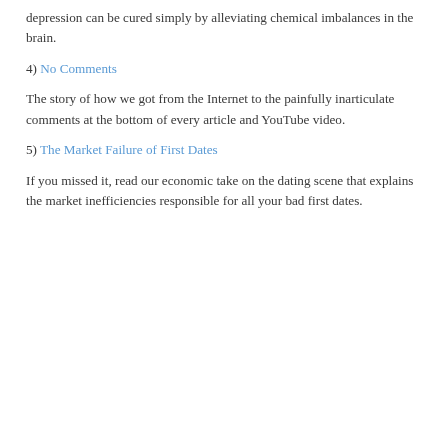depression can be cured simply by alleviating chemical imbalances in the brain.
4) No Comments
The story of how we got from the Internet to the painfully inarticulate comments at the bottom of every article and YouTube video.
5) The Market Failure of First Dates
If you missed it, read our economic take on the dating scene that explains the market inefficiencies responsible for all your bad first dates.